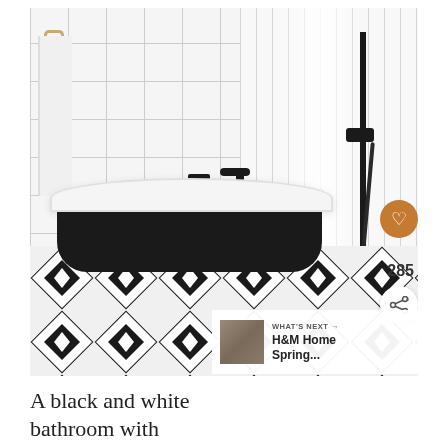[Figure (photo): A bathroom interior with white subway tiles on the wall, a freestanding clawfoot bathtub painted black on the outside and white on the inside, black matte faucet and shower fixtures, and bold black-and-white geometric diamond-pattern floor tiles. A white towel hangs on the left wall. Overlaid UI elements include an orange heart/like button with count 285 and a share button on the right side, and a 'What's Next' thumbnail panel in the bottom right corner showing H&M Home Spring content.]
A black and white bathroom with